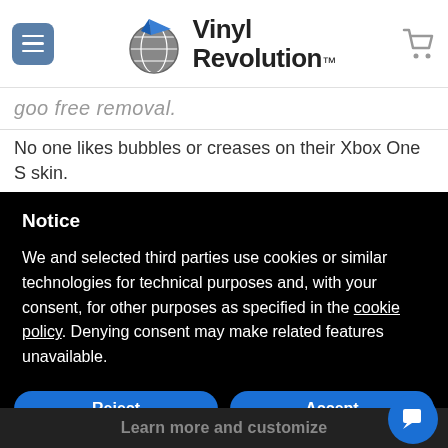Vinyl Revolution
goo free removal.
No one likes bubbles or creases on their Xbox One S skin.
Notice
We and selected third parties use cookies or similar technologies for technical purposes and, with your consent, for other purposes as specified in the cookie policy. Denying consent may make related features unavailable.
Reject
Accept
Learn more and customize